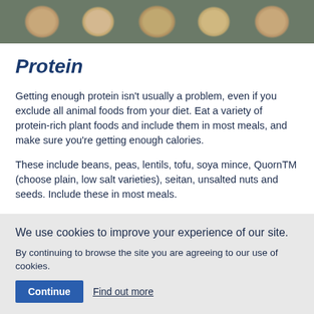[Figure (photo): Photo strip at top showing various grains and seeds in terracotta bowls on a dark wooden surface]
Protein
Getting enough protein isn't usually a problem, even if you exclude all animal foods from your diet. Eat a variety of protein-rich plant foods and include them in most meals, and make sure you're getting enough calories.
These include beans, peas, lentils, tofu, soya mince, QuornTM (choose plain, low salt varieties), seitan, unsalted nuts and seeds. Include these in most meals.
We use cookies to improve your experience of our site.
By continuing to browse the site you are agreeing to our use of cookies.